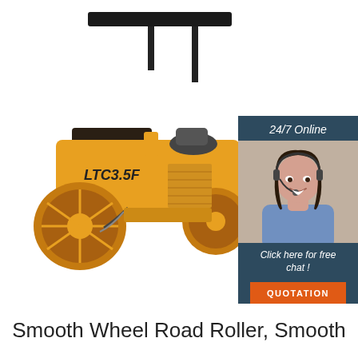[Figure (photo): Yellow LTC3.5F smooth wheel road roller (tandem drum compactor) with black canopy/sunshade, shown on white background. Label 'LTC3.5F' visible on the body of the machine.]
[Figure (infographic): 24/7 Online customer service chat widget. Dark blue/teal background with text '24/7 Online' in italic white, a photo of a smiling brunette woman wearing a headset, italic text 'Click here for free chat !', and an orange button labeled 'QUOTATION'.]
Smooth Wheel Road Roller, Smooth